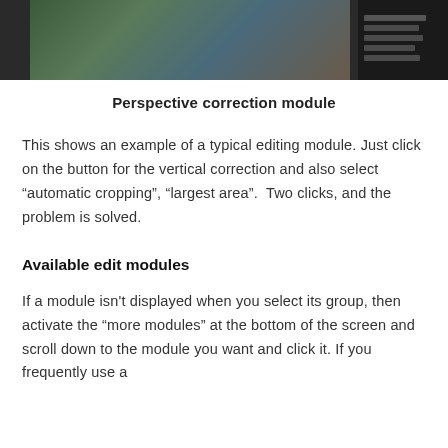[Figure (screenshot): Screenshot of a photo editing application showing a perspective correction module with a forest/outdoor scene on the left and a panel/settings sidebar on the right.]
Perspective correction module
This shows an example of a typical editing module. Just click on the button for the vertical correction and also select “automatic cropping”, “largest area”.  Two clicks, and the problem is solved.
Available edit modules
If a module isn't displayed when you select its group, then activate the “more modules” at the bottom of the screen and scroll down to the module you want and click it. If you frequently use a